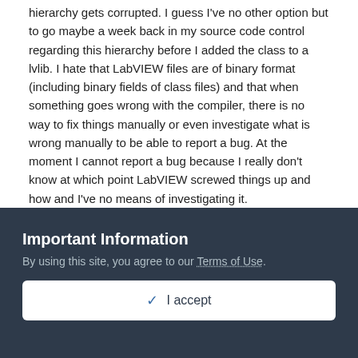hierarchy gets corrupted. I guess I've no other option but to go maybe a week back in my source code control regarding this hierarchy before I added the class to a lvlib. I hate that LabVIEW files are of binary format (including binary fields of class files) and that when something goes wrong with the compiler, there is no way to fix things manually or even investigate what is wrong manually to be able to report a bug. At the moment I cannot report a bug because I really don't know at which point LabVIEW screwed things up and how and I've no means of investigating it.
+ Quote
ElijahKerry
Important Information
By using this site, you agree to our Terms of Use.
✓ I accept